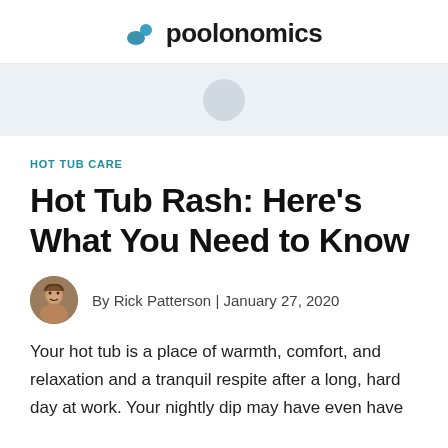poolonomics
[Figure (other): Advertisement banner with light blue-gray background and a circular placeholder element]
HOT TUB CARE
Hot Tub Rash: Here’s What You Need to Know
By Rick Patterson | January 27, 2020
Your hot tub is a place of warmth, comfort, and relaxation and a tranquil respite after a long, hard day at work. Your nightly dip may have even have